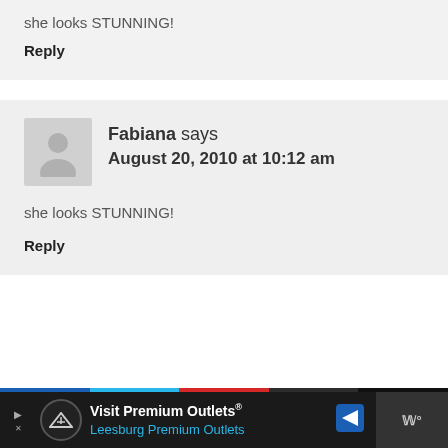she looks STUNNING!
Reply
Fabiana says
August 20, 2010 at 10:12 am
she looks STUNNING!
Reply
[Figure (other): Advertisement banner for Visit Premium Outlets / Leesburg Premium Outlets with logo and navigation sign icon]